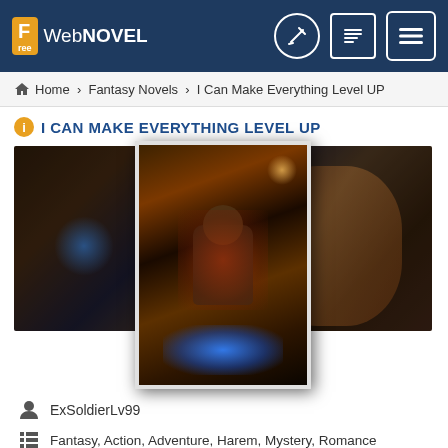Free WebNOVEL
Home › Fantasy Novels › I Can Make Everything Level UP
I CAN MAKE EVERYTHING LEVEL UP
[Figure (illustration): Fantasy warrior character artwork used as novel cover, with dark dramatic background and a foreground book cover image of an armored warrior with glowing blue energy]
ExSoldierLv99
Fantasy, Action, Adventure, Harem, Mystery, Romance
Webnovel
English Novel